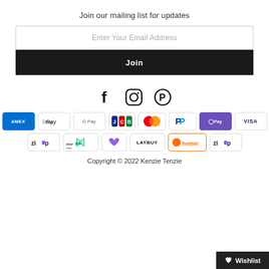Join our mailing list for updates
Enter Your Email Address
Join
[Figure (infographic): Social media icons: Facebook (f), Instagram (circle camera), Pinterest (P circle)]
[Figure (infographic): Payment method logos: Amex, Apple Pay, Google Pay, JCB, Mastercard, PayPal, OPay, Visa, Zip, Afterpay, Laybuy heart logo, LAYBUY, humm, Zip]
Copyright © 2022 Kenzie Tenzie
Wishlist